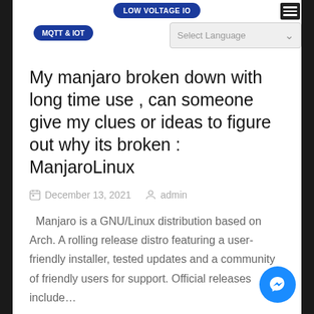LOW VOLTAGE IO   MQTT & IOT   Select Language
My manjaro broken down with long time use , can someone give my clues or ideas to figure out why its broken : ManjaroLinux
December 13, 2021   admin
Manjaro is a GNU/Linux distribution based on Arch. A rolling release distro featuring a user-friendly installer, tested updates and a community of friendly users for support. Official releases include…